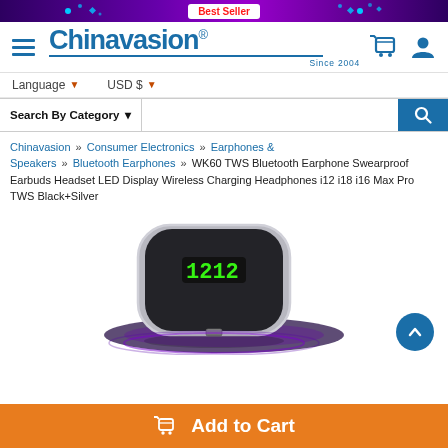[Figure (screenshot): Purple/dark gradient banner with 'Best Seller' badge in white/red, decorative dots and diamond shapes in light blue]
Chinavasion® Since 2004
Language ▾   USD $ ▾
Search By Category ▾
Chinavasion » Consumer Electronics » Earphones & Speakers » Bluetooth Earphones » WK60 TWS Bluetooth Earphone Swearproof Earbuds Headset LED Display Wireless Charging Headphones i12 i18 i16 Max Pro TWS Black+Silver
[Figure (photo): WK60 TWS Bluetooth earphone charging case, black and silver, with green LED display showing battery level, on a dark wireless charging pad with purple glow]
Add to Cart